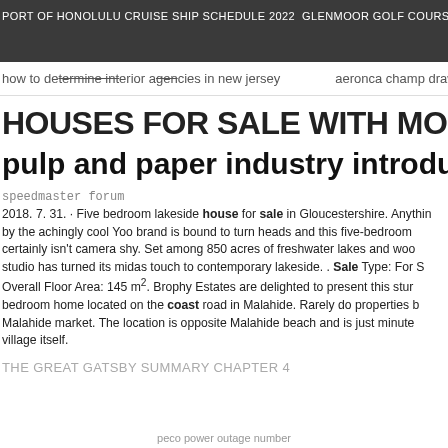PORT OF HONOLULU CRUISE SHIP SCHEDULE 2022 GLENMOOR GOLF COURSE ∨
how to determine billing agencies in new jersey    aeronca champ drawings
HOUSES FOR SALE WITH MOORINGS S
pulp and paper industry introduction
speedmaster forum
2018. 7. 31. · Five bedroom lakeside house for sale in Gloucestershire. Anything by the achingly cool Yoo brand is bound to turn heads and this five-bedroom certainly isn't camera shy. Set among 850 acres of freshwater lakes and woo studio has turned its midas touch to contemporary lakeside. . Sale Type: For S Overall Floor Area: 145 m². Brophy Estates are delighted to present this stur bedroom home located on the coast road in Malahide. Rarely do properties b Malahide market. The location is opposite Malahide beach and is just minute village itself.
THE GREAT GATSBY SUMMARY CHAPTER 4
peco power outage number